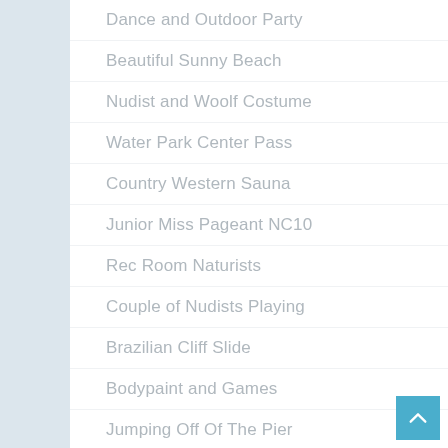Dance and Outdoor Party
Beautiful Sunny Beach
Nudist and Woolf Costume
Water Park Center Pass
Country Western Sauna
Junior Miss Pageant NC10
Rec Room Naturists
Couple of Nudists Playing
Brazilian Cliff Slide
Bodypaint and Games
Jumping Off Of The Pier
Neptune Circular Dancing